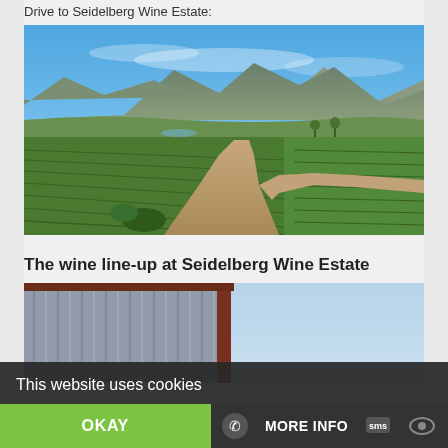Drive to Seidelberg Wine Estate:
[Figure (photo): Landscape photo showing vineyards, a winding dirt road, green fields, and mountains in the background under a blue sky — at Seidelberg Wine Estate.]
The wine line-up at Seidelberg Wine Estate
[Figure (photo): Partial photo of a building with corrugated metal walls and a red/brown trim under a pale blue sky.]
This website uses cookies
OKAY
MORE INFO